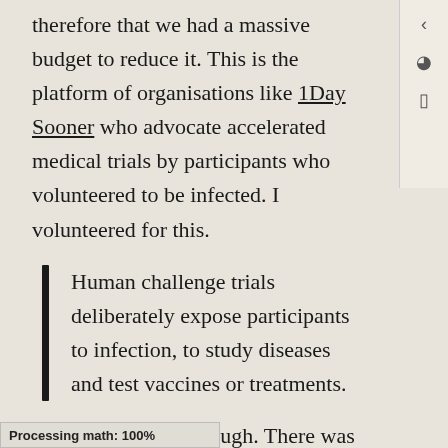therefore that we had a massive budget to reduce it. This is the platform of organisations like 1Day Sooner who advocate accelerated medical trials by participants who volunteered to be infected. I volunteered for this.
Human challenge trials deliberately expose participants to infection, to study diseases and test vaccines or treatments.
This is cheap talk though. There was not really anywhere to take my volunteer energy in
Processing math: 100%